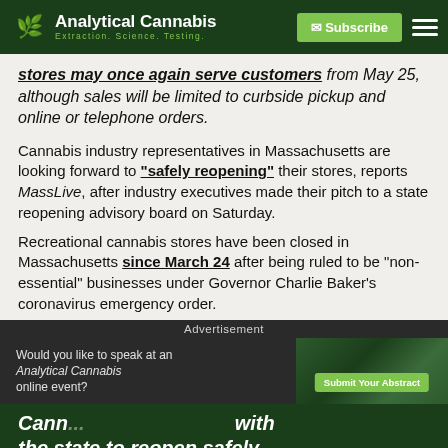Analytical Cannabis — Extraction. Science. Testing.
stores may once again serve customers from May 25, although sales will be limited to curbside pickup and online or telephone orders.
Cannabis industry representatives in Massachusetts are looking forward to "safely reopening" their stores, reports MassLive, after industry executives made their pitch to a state reopening advisory board on Saturday.
Recreational cannabis stores have been closed in Massachusetts since March 24 after being ruled to be "non-essential" businesses under Governor Charlie Baker's coronavirus emergency order.
Advertisement
Would you like to speak at an Analytical Cannabis online event?
Cann... with the state to reopen safely